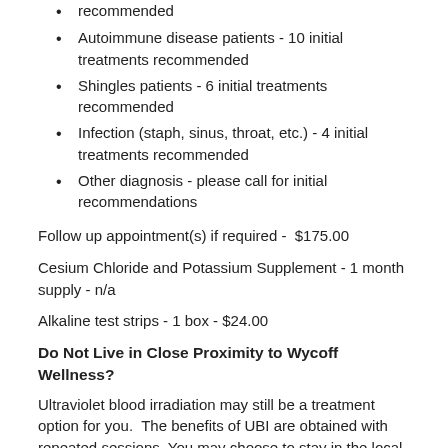recommended
Autoimmune disease patients - 10 initial treatments recommended
Shingles patients - 6 initial treatments recommended
Infection (staph, sinus, throat, etc.) - 4 initial treatments recommended
Other diagnosis - please call for initial recommendations
Follow up appointment(s) if required -  $175.00
Cesium Chloride and Potassium Supplement - 1 month supply - n/a
Alkaline test strips - 1 box - $24.00
Do Not Live in Close Proximity to Wycoff Wellness?
Ultraviolet blood irradiation may still be a treatment option for you.  The benefits of UBI are obtained with repeated sessions.  You may choose to stay in the local area and receive several treatments per week (typically every other day) for a few weeks.
Ultraviolet Blood Irradiation (UBI) is the "Power of Light." UBI can be used to treat a number of health problems and help you improve your health and wellness naturally.